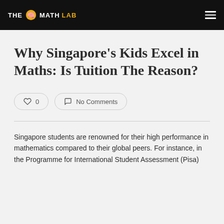THE MATH LAB
Why Singapore's Kids Excel in Maths: Is Tuition The Reason?
0
No Comments
Singapore students are renowned for their high performance in mathematics compared to their global peers. For instance, in the Programme for International Student Assessment (Pisa)